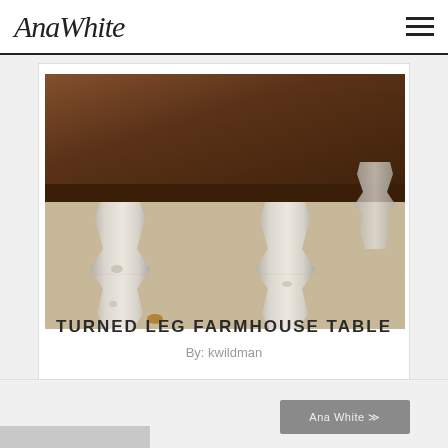AnaWhite
[Figure (photo): Farmhouse dining table with dark stained wood top and white distressed turned legs, photographed on concrete floor]
TURNED LEG FARMHOUSE TABLE
By: kwildman